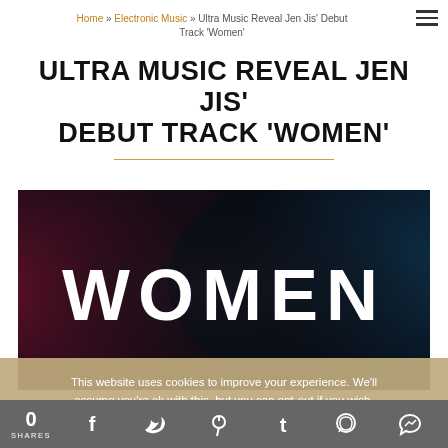Home » Electronic Music » Ultra Music Reveal Jen Jis' Debut Track 'Women'
ULTRA MUSIC REVEAL JEN JIS' DEBUT TRACK 'WOMEN'
[Figure (illustration): Album art / promotional image with dark background blending deep red and teal colors, with large white bold text 'WOMEN' centered.]
This website uses cookies to improve your experience. We'll assume you're ok with this, but you can opt-out if you wish.
0 SHARES — social share icons: Facebook, Twitter, Pinterest, Tumblr, WhatsApp, Messenger